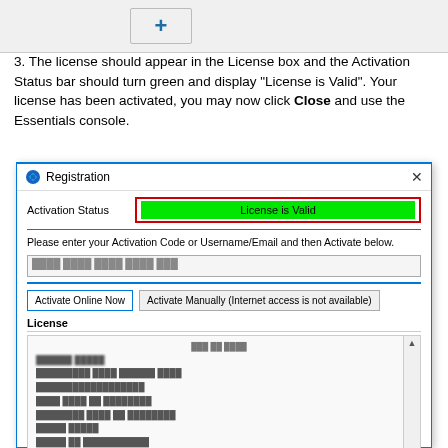[Figure (screenshot): Top bar with a blue plus (+) button on a light gray background]
3. The license should appear in the License box and the Activation Status bar should turn green and display "License is Valid". Your license has been activated, you may now click Close and use the Essentials console.
[Figure (screenshot): Registration dialog window showing Activation Status with a green 'License is Valid' bar highlighted by a red border, a code input field, Activate Online Now and Activate Manually buttons, and a License section with blurred license text.]